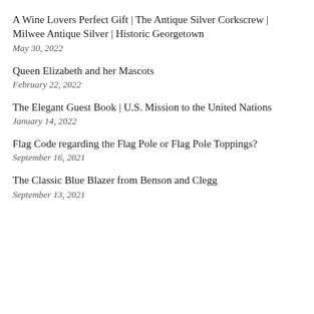A Wine Lovers Perfect Gift | The Antique Silver Corkscrew | Milwee Antique Silver | Historic Georgetown
May 30, 2022
Queen Elizabeth and her Mascots
February 22, 2022
The Elegant Guest Book | U.S. Mission to the United Nations
January 14, 2022
Flag Code regarding the Flag Pole or Flag Pole Toppings?
September 16, 2021
The Classic Blue Blazer from Benson and Clegg
September 13, 2021